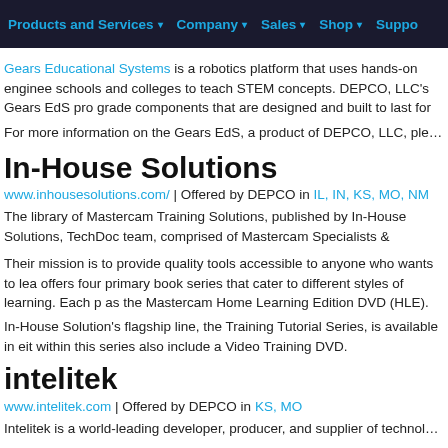Products and Services | Company | Sales | Shop | Suppo
Gears Educational Systems is a robotics platform that uses hands-on enginee schools and colleges to teach STEM concepts. DEPCO, LLC's Gears EdS pro grade components that are designed and built to last for years in the classroo
For more information on the Gears EdS, a product of DEPCO, LLC, please vis
In-House Solutions
www.inhousesolutions.com/ | Offered by DEPCO in IL, IN, KS, MO, NM
The library of Mastercam Training Solutions, published by In-House Solutions, TechDoc team, comprised of Mastercam Specialists & Trainers, has been at it
Their mission is to provide quality tools accessible to anyone who wants to lea offers four primary book series that cater to different styles of learning. Each p as the Mastercam Home Learning Edition DVD (HLE).
In-House Solution's flagship line, the Training Tutorial Series, is available in eit within this series also include a Video Training DVD.
intelitek
www.intelitek.com | Offered by DEPCO in KS, MO
Intelitek is a world-leading developer, producer, and supplier of technology trai